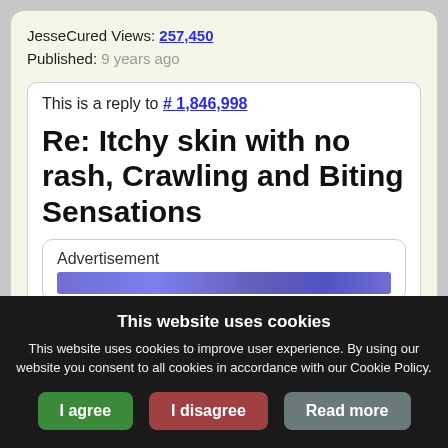JesseCured Views: 257,450
Published: 9 years ago
This is a reply to # 1,846,998
Re: Itchy skin with no rash, Crawling and Biting Sensations
Advertisement
This website uses cookies
This website uses cookies to improve user experience. By using our website you consent to all cookies in accordance with our Cookie Policy.
I agree
I disagree
Read more